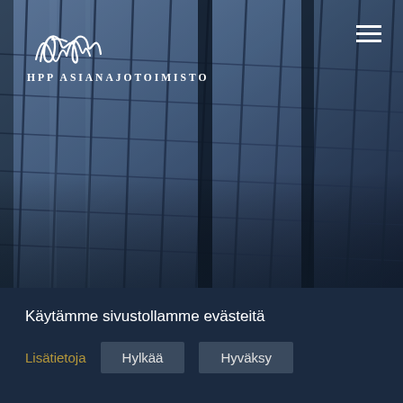[Figure (photo): Hero image of a modern glass building facade with dark blue grid pattern, HPP Asianajotoimisto law firm logo and navigation hamburger menu overlaid on top]
Käytämme sivustollamme evästeitä
Lisätietoja
Hylkää
Hyväksy